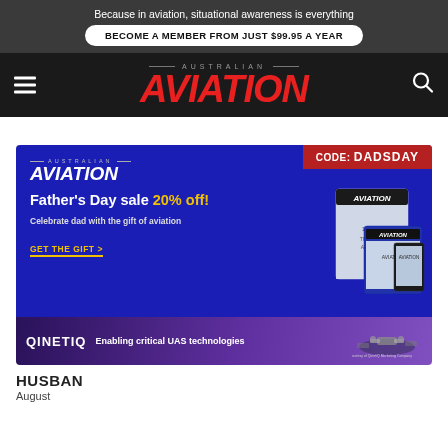Because in aviation, situational awareness is everything
BECOME A MEMBER FROM JUST $99.95 A YEAR
[Figure (logo): Australian Aviation magazine logo with red italic AVIATION text on dark background]
[Figure (infographic): Australian Aviation Father's Day sale advertisement. Dark blue background with red badge showing CODE: DADSDAY. Text: Father's Day sale 20% off! Celebrate dad with the gift of aviation. GET THE GIFT >. Shows magazine covers. Bottom strip: QinetiQ - Enabling critical UAS technologies.]
HUSBAN
August